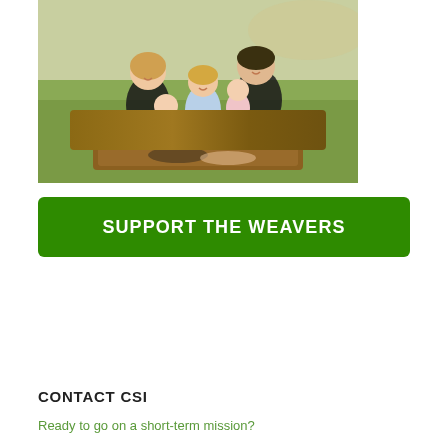[Figure (photo): Family photo of five people (two adults and three young children) sitting on a blanket on grass outdoors.]
SUPPORT THE WEAVERS
CONTACT CSI
Ready to go on a short-term mission?